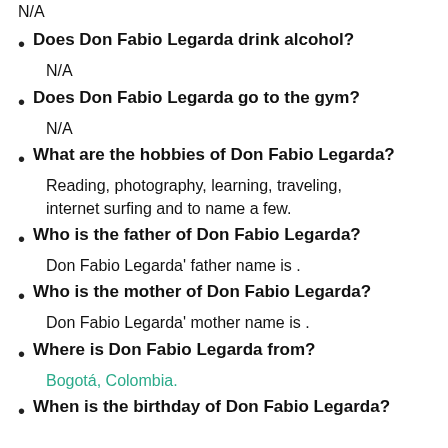Does Don Fabio Legarda smoke?
N/A
Does Don Fabio Legarda drink alcohol?
N/A
Does Don Fabio Legarda go to the gym?
N/A
What are the hobbies of Don Fabio Legarda?
Reading, photography, learning, traveling, internet surfing and to name a few.
Who is the father of Don Fabio Legarda?
Don Fabio Legarda' father name is .
Who is the mother of Don Fabio Legarda?
Don Fabio Legarda' mother name is .
Where is Don Fabio Legarda from?
Bogotá, Colombia.
When is the birthday of Don Fabio Legarda?